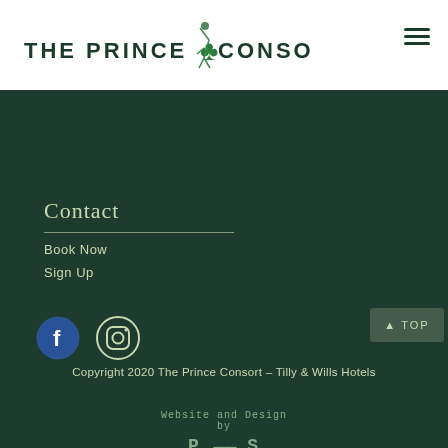[Figure (logo): The Prince Consort logo with illustrated figure between text]
[Figure (illustration): Hamburger/menu icon — three horizontal bars]
Contact
Book Now
Sign Up
[Figure (logo): Facebook social media icon circle with F]
[Figure (logo): Instagram social media icon circle with camera]
[Figure (other): Top scroll button with upward arrow and text 'Top']
Copyright 2020 The Prince Consort – Tilly & Wills Hotels
Website and Design by P—S